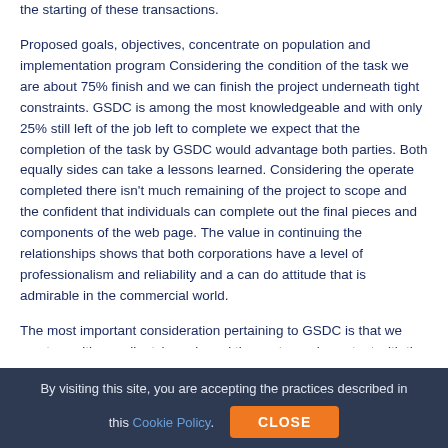the starting of these transactions.
Proposed goals, objectives, concentrate on population and implementation program Considering the condition of the task we are about 75% finish and we can finish the project underneath tight constraints. GSDC is among the most knowledgeable and with only 25% still left of the job left to complete we expect that the completion of the task by GSDC would advantage both parties. Both equally sides can take a lessons learned. Considering the operate completed there isn't much remaining of the project to scope and the confident that individuals can complete out the final pieces and components of the web page. The value in continuing the relationships shows that both corporations have a level of professionalism and reliability and a can do attitude that is admirable in the commercial world.
The most important consideration pertaining to GSDC is that we meet up with our clients' needs and the customer is content with the done product. The must total the website pertaining to the
By visiting this site, you are accepting the practices described in this Cookie Policy. CLOSE